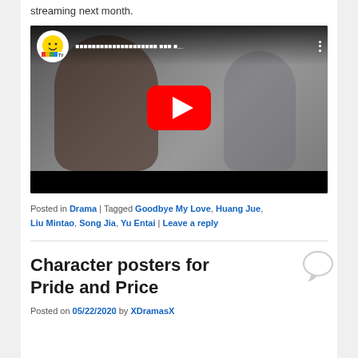streaming next month.
[Figure (screenshot): YouTube video embed showing two people in a scene, with YouTube logo in top left, Chinese text title, three-dot menu, red play button in center, and black bar at bottom.]
Posted in Drama | Tagged Goodbye My Love, Huang Jue, Liu Mintao, Song Jia, Yu Entai | Leave a reply
Character posters for Pride and Price
Posted on 05/22/2020 by XDramasX